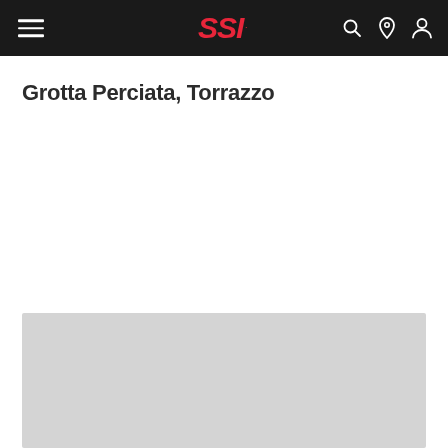SSI navigation bar with hamburger menu, SSI logo, search, location, and user account icons
Grotta Perciata, Torrazzo
[Figure (photo): Light gray placeholder image block at the bottom of the page]